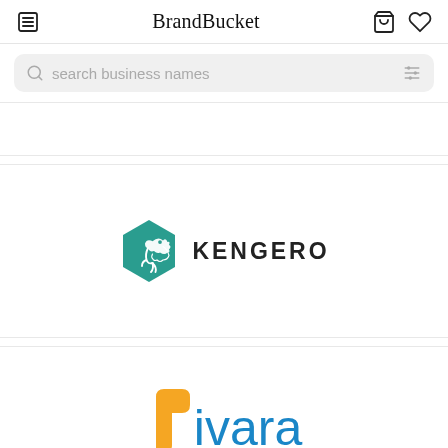BrandBucket
search business names
[Figure (logo): Kengero logo: teal hexagon with kangaroo silhouette and bold text KENGERO]
[Figure (logo): Tivara logo: stylized text with orange t and blue ivara]